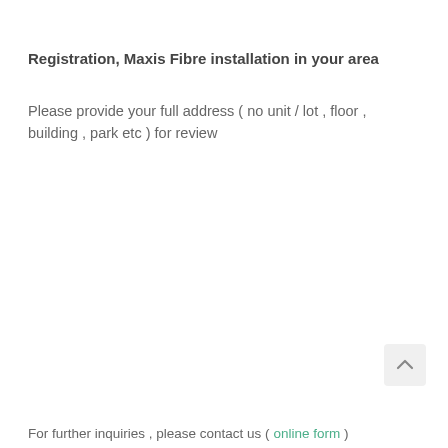Registration, Maxis Fibre installation in your area
Please provide your full address ( no unit / lot , floor , building , park etc ) for review
For further inquiries , please contact us ( online form )